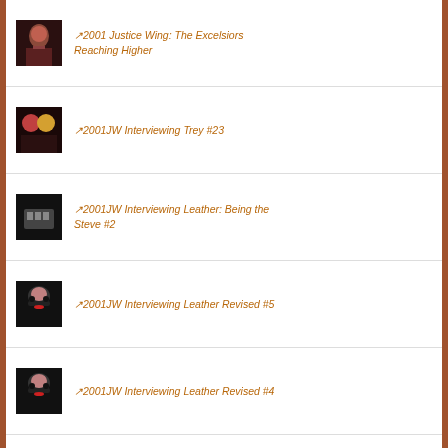↗2001 Justice Wing: The Excelsiors Reaching Higher
↗2001JW Interviewing Trey #23
↗2001JW Interviewing Leather: Being the Steve #2
↗2001JW Interviewing Leather Revised #5
↗2001JW Interviewing Leather Revised #4
↗2001JW Justice Wing: Forebears #13